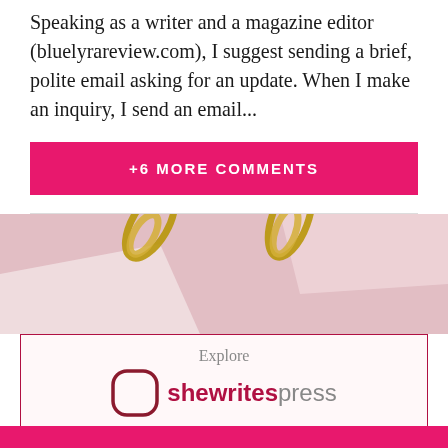Speaking as a writer and a magazine editor (bluelyrareview.com), I suggest sending a brief, polite email asking for an update. When I make an inquiry, I send an email...
+6 MORE COMMENTS
[Figure (photo): Photo of gold paperclips on a pink background]
[Figure (logo): She Writes Press advertisement. Text: Explore shewritespress. Our publishing platform for women writers.]